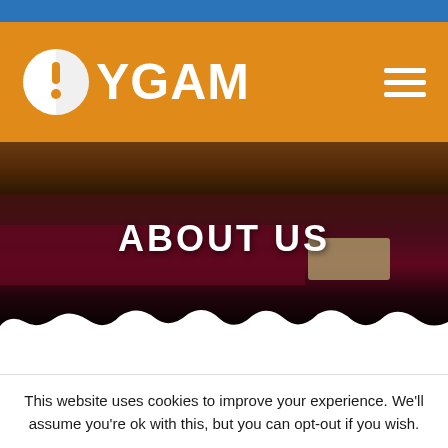YGAM
[Figure (screenshot): YGAM website header screenshot showing orange navigation bar with YGAM logo (circular icon with exclamation mark and YGAM wordmark) on the left and hamburger menu icon on the right, with a blue bar above it.]
ABOUT US
[Figure (photo): Blurred dark interior photo of what appears to be a gambling venue or casino, showing dark wood paneling, maroon/red surfaces, and a small card/sign in the bottom right. The image has a torn/jagged white paper edge at the bottom.]
This website uses cookies to improve your experience. We'll assume you're ok with this, but you can opt-out if you wish.
Cookie settings
ACCEPT